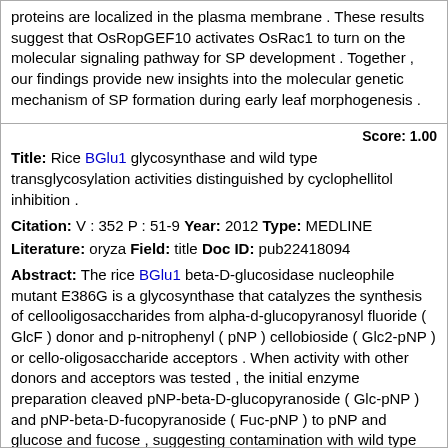proteins are localized in the plasma membrane . These results suggest that OsRopGEF10 activates OsRac1 to turn on the molecular signaling pathway for SP development . Together , our findings provide new insights into the molecular genetic mechanism of SP formation during early leaf morphogenesis .
Score: 1.00
Title: Rice BGlu1 glycosynthase and wild type transglycosylation activities distinguished by cyclophellitol inhibition .
Citation: V : 352 P : 51-9 Year: 2012 Type: MEDLINE
Literature: oryza Field: title Doc ID: pub22418094
Abstract: The rice BGlu1 beta-D-glucosidase nucleophile mutant E386G is a glycosynthase that catalyzes the synthesis of cellooligosaccharides from alpha-d-glucopyranosyl fluoride ( GlcF ) donor and p-nitrophenyl ( pNP ) cellobioside ( Glc2-pNP ) or cello-oligosaccharide acceptors . When activity with other donors and acceptors was tested , the initial enzyme preparation cleaved pNP-beta-D-glucopyranoside ( Glc-pNP ) and pNP-beta-D-fucopyranoside ( Fuc-pNP ) to pNP and glucose and fucose , suggesting contamination with wild type BGlu1 beta-glucosidase . The products from reaction of GlcF and Fuc-pNP included Fuc-beta- ( 1-->3 ) -Fuc-pNP , Glc-beta- ( 1-->3 ) -Fuc-pNP , and Fuc-beta- ( 1-->4 ) -Glc-beta- ( 1-->3 ) -Fuc-pNP , suggesting the presence of both wild type BGlu1 and its glycosynthase . Inhibition of the BGlu1 beta-glucosidase activity within this preparation by cyclophellitol confirmed that the E386G glycosynthase preparation was contaminated with wild type BGlu1 . Rice BGlu1 E386G-2 , generated from a new construct designed to minimize back-mutation , showed glycosynthase activity without wild type hydrolytic or transglycosylation activity . E386G-2 catalyzed transfer of glycosyl residues from GlcF , alpha-L-arabinosyl fluoride , alpha-D-